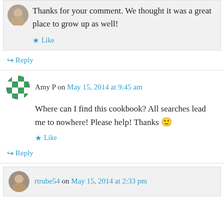Thanks for your comment. We thought it was a great place to grow up as well!
Like
Reply
Amy P on May 15, 2014 at 9:45 am
Where can I find this cookbook? All searches lead me to nowhere! Please help! Thanks 🙂
Like
Reply
rtrube54 on May 15, 2014 at 2:33 pm